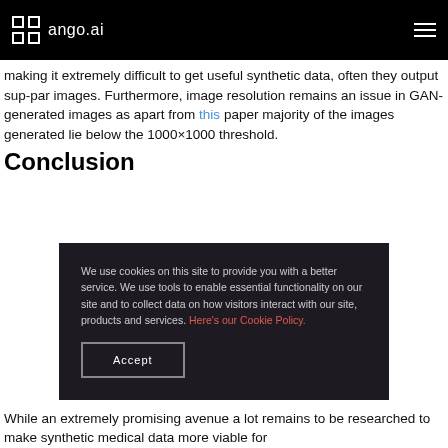ango.ai
making it extremely difficult to get useful synthetic data, often they output sup-par images. Furthermore, image resolution remains an issue in GAN-generated images as apart from this paper majority of the images generated lie below the 1000×1000 threshold.
Conclusion
[Figure (screenshot): Cookie consent overlay with dark background. Text: 'We use cookies on this site to provide you with a better service. We use tools to enable essential functionality on our site and to collect data on how visitors interact with our site, products and services. Here’s our Cookie Policy.' with an Accept button.]
While an extremely promising avenue a lot remains to be researched to make synthetic medical data more viable for